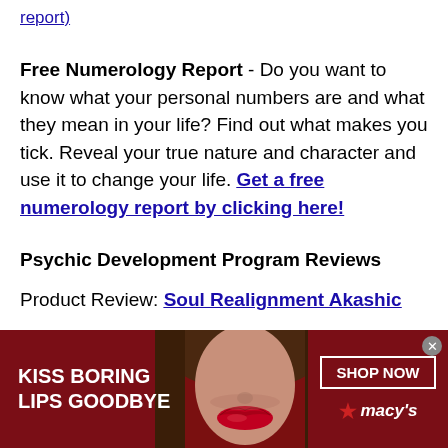report)
Free Numerology Report - Do you want to know what your personal numbers are and what they mean in your life? Find out what makes you tick. Reveal your true nature and character and use it to change your life. Get a free numerology report by clicking here!
Psychic Development Program Reviews
Product Review: Soul Realignment Akashic
[Figure (screenshot): Advertisement banner for Macy's lipstick promotion. Dark red background with woman's face showing red lips in the center. Left side reads 'KISS BORING LIPS GOODBYE' in white bold text. Right side has 'SHOP NOW' button and Macy's star logo. Close button (x) in top right corner.]